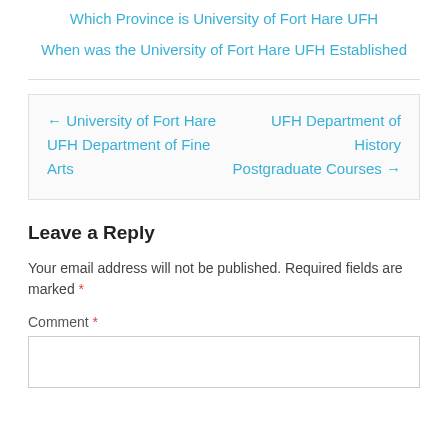Which Province is University of Fort Hare UFH
When was the University of Fort Hare UFH Established
← University of Fort Hare UFH Department of Fine Arts
UFH Department of History Postgraduate Courses →
Leave a Reply
Your email address will not be published. Required fields are marked *
Comment *